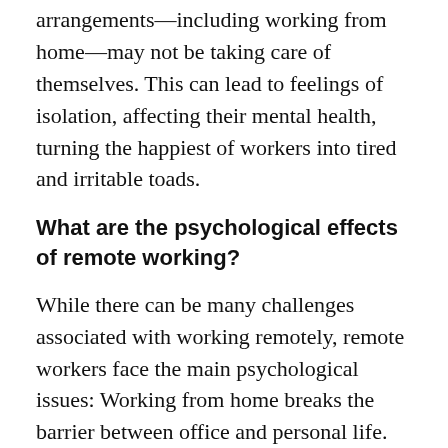who take advantage of flexible working arrangements—including working from home—may not be taking care of themselves. This can lead to feelings of isolation, affecting their mental health, turning the happiest of workers into tired and irritable toads.
What are the psychological effects of remote working?
While there can be many challenges associated with working remotely, remote workers face the main psychological issues: Working from home breaks the barrier between office and personal life. Employees might miss coworkers and watercooler conversations, and Similarly, they might miss celebrating events together.